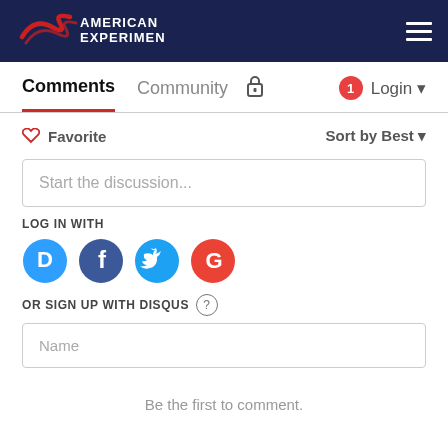[Figure (logo): American Experiment logo with stylized swoosh in red on dark navy background header with hamburger menu icon]
Comments  Community  🔒  1  Login
♡ Favorite   Sort by Best ▾
Start the discussion...
LOG IN WITH
[Figure (infographic): Four social login icons: Disqus (blue circle with D), Facebook (dark blue circle with f), Twitter (light blue circle with bird), Google (red circle with G)]
OR SIGN UP WITH DISQUS ?
Name
Be the first to comment.